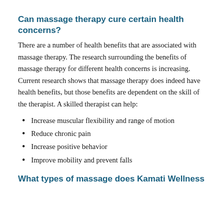Can massage therapy cure certain health concerns?
There are a number of health benefits that are associated with massage therapy. The research surrounding the benefits of massage therapy for different health concerns is increasing. Current research shows that massage therapy does indeed have health benefits, but those benefits are dependent on the skill of the therapist. A skilled therapist can help:
Increase muscular flexibility and range of motion
Reduce chronic pain
Increase positive behavior
Improve mobility and prevent falls
What types of massage does Kamati Wellness